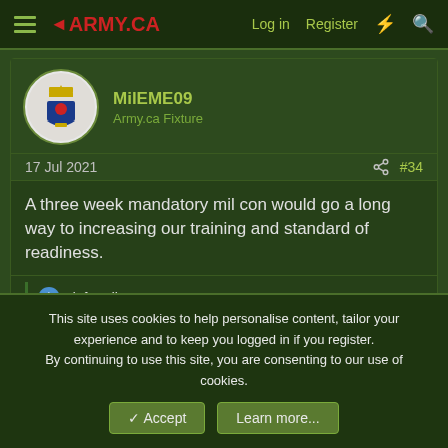Army.ca — Log in  Register
MilEME09
Army.ca Fixture
17 Jul 2021  #34
A three week mandatory mil con would go a long way to increasing our training and standard of readiness.
daftandbarmy
medic5
Member
This site uses cookies to help personalise content, tailor your experience and to keep you logged in if you register.
By continuing to use this site, you are consenting to our use of cookies.